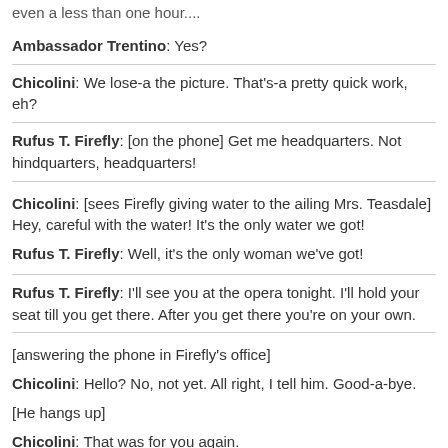even a less than one hour....
Ambassador Trentino: Yes?
Chicolini: We lose-a the picture. That's-a pretty quick work, eh?
Rufus T. Firefly: [on the phone] Get me headquarters. Not hindquarters, headquarters!
Chicolini: [sees Firefly giving water to the ailing Mrs. Teasdale] Hey, careful with the water! It's the only water we got!
Rufus T. Firefly: Well, it's the only woman we've got!
Rufus T. Firefly: I'll see you at the opera tonight. I'll hold your seat till you get there. After you get there you're on your own.
[answering the phone in Firefly's office]
Chicolini: Hello? No, not yet. All right, I tell him. Good-a-bye.
[He hangs up]
Chicolini: That was for you again.
Rufus T. Firefly: I wonder whatever became of me? I should have been here long before now.